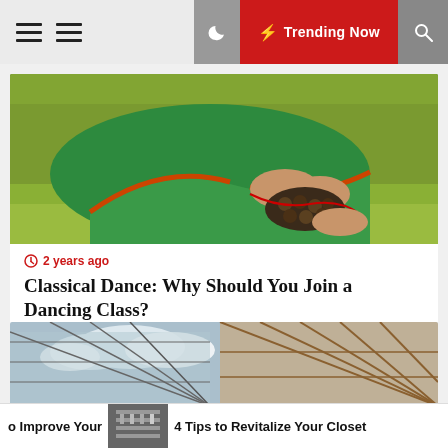Trending Now
[Figure (photo): Indian classical dancer in green sari sitting on grass tying ghungroo ankle bells]
2 years ago
Classical Dance: Why Should You Join a Dancing Class?
[Figure (photo): Glass roof/greenhouse structure with metal framing against blue sky]
o Improve Your     4 Tips to Revitalize Your Closet